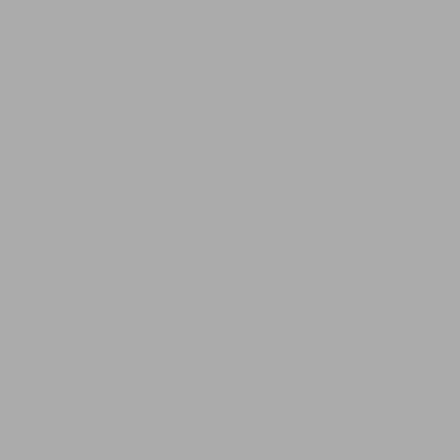COLL 7 rule
R
01/04/2004
[Figure (other): Layers icon badge]
(1) T... ICVO...
(2) T... (a)... (b)... h...
(3) If... resp... writt...
Repor
COLL 7.3.10
R
06/03/2011
[Figure (other): Layers icon badge]
(1) T... repo... acco... direc... this i...